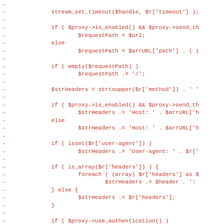Code diff showing PHP HTTP request handling with proxy, headers, and authentication logic
-   stream_set_timeout($handle, $r['timeout'] );
-
-   if ( $proxy->is_enabled() && $proxy->send_th
-           $requestPath = $url;
-   else
-           $requestPath = $arrURL['path'] . ( i
-
-   if ( empty($requestPath) )
-           $requestPath .= '/';
-
-   $strHeaders = strtoupper($r['method']) . ' '
-
-   if ( $proxy->is_enabled() && $proxy->send_th
-           $strHeaders .= 'Host: ' . $arrURL['h
-   else
-           $strHeaders .= 'Host: ' . $arrURL['h
-
-   if ( isset($r['user-agent']) )
-           $strHeaders .= 'User-agent: ' . $r['
-
-   if ( is_array($r['headers']) ) {
-           foreach ( (array) $r['headers'] as $
-                   $strHeaders .= $header . ':
-   } else {
-           $strHeaders .= $r['headers'];
-   }
-
-   if ( $proxy->use_authentication() )
-           $strHeaders .= $proxy->authenticatio
-
-   $strHeaders .= "\r\n";